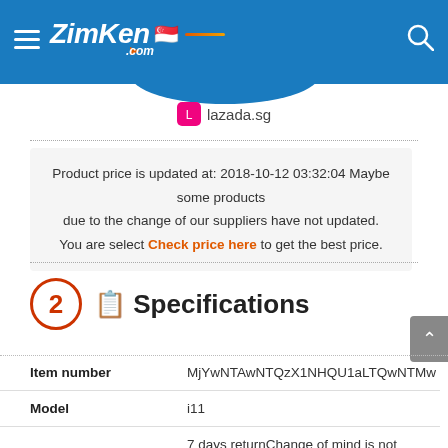ZimKen.com
[Figure (logo): ZimKen.com logo with Singapore flag and hamburger menu on blue header bar]
lazada.sg
Product price is updated at: 2018-10-12 03:32:04 Maybe some products due to the change of our suppliers have not updated. You are select Check price here to get the best price.
2 Specifications
| Specification | Value |
| --- | --- |
| Item number | MjYwNTAwNTQzX1NHQU1aLTQwNTMw |
| Model | i11 |
| Warranty & Replacement | 7 days returnChange of mind is not applic (Singapore) manufacturer warranty 1 Yea |